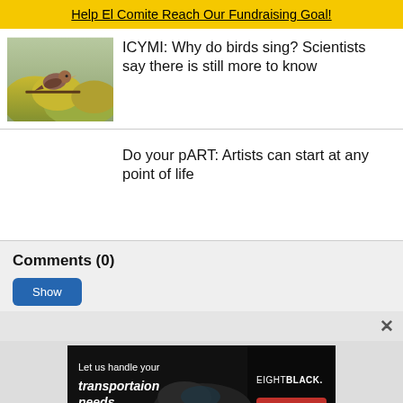Help El Comite Reach Our Fundraising Goal!
ICYMI: Why do birds sing? Scientists say there is still more to know
Do your pART: Artists can start at any point of life
Comments (0)
Show
[Figure (photo): Photo of a small bird perched on yellow-green flowering shrubbery]
[Figure (photo): Advertisement: Let us handle your transportaion needs — EIGHTBLACK. Book now]